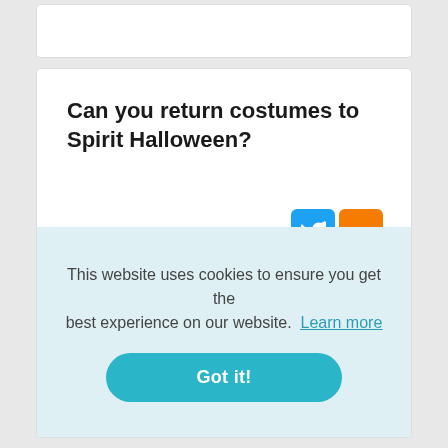Can you return costumes to Spirit Halloween?
Spirit Halloween stores accepts returned items within 14 days of their original purchase. The returned items must still be in
This website uses cookies to ensure you get the best experience on our website.  Learn more
Got it!